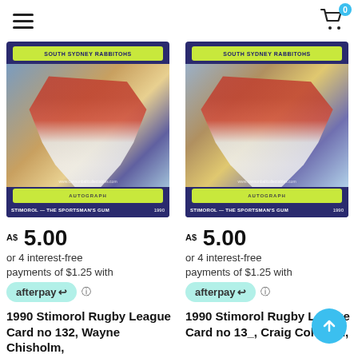Navigation bar with hamburger menu and cart icon (0 items)
[Figure (photo): 1990 Stimorol Rugby League trading card showing Wayne Chisholm in South Sydney Rabbits jersey, with autograph area and 'STIMOROL — THE SPORTSMAN'S GUM 1990' banner]
A$ 5.00
or 4 interest-free payments of $1.25 with
afterpay
1990 Stimorol Rugby League Card no 132, Wayne Chisholm,
[Figure (photo): 1990 Stimorol Rugby League trading card showing Craig Coleman in South Sydney Rabbits jersey, with autograph area and 'STIMOROL — THE SPORTSMAN'S GUM 1990' banner]
A$ 5.00
or 4 interest-free payments of $1.25 with
afterpay
1990 Stimorol Rugby League Card no 13_, Craig Coleman,